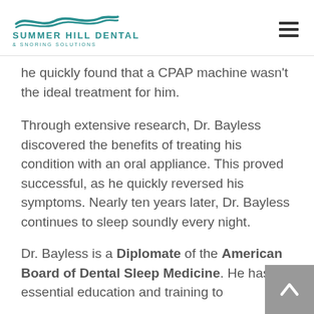Summer Hill Dental & Snoring Solutions
he quickly found that a CPAP machine wasn’t the ideal treatment for him.
Through extensive research, Dr. Bayless discovered the benefits of treating his condition with an oral appliance. This proved successful, as he quickly reversed his symptoms. Nearly ten years later, Dr. Bayless continues to sleep soundly every night.
Dr. Bayless is a Diplomate of the American Board of Dental Sleep Medicine. He has the essential education and training to